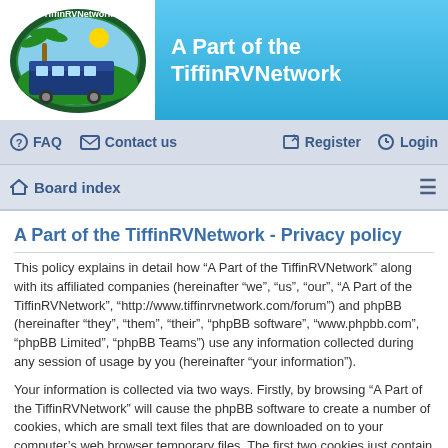[Figure (logo): TiffinRVNetwork circular logo with RV bus, palm tree, and blue/green colors]
A Part of the TiffinRVNetwork
FAQ  Contact us  Register  Login
Board index
A Part of the TiffinRVNetwork - Privacy policy
This policy explains in detail how “A Part of the TiffinRVNetwork” along with its affiliated companies (hereinafter “we”, “us”, “our”, “A Part of the TiffinRVNetwork”, “http://www.tiffinrvnetwork.com/forum”) and phpBB (hereinafter “they”, “them”, “their”, “phpBB software”, “www.phpbb.com”, “phpBB Limited”, “phpBB Teams”) use any information collected during any session of usage by you (hereinafter “your information”).
Your information is collected via two ways. Firstly, by browsing “A Part of the TiffinRVNetwork” will cause the phpBB software to create a number of cookies, which are small text files that are downloaded on to your computer’s web browser temporary files. The first two cookies just contain a user identifier (hereinafter “user-id”) and an anonymous session identifier (hereinafter “session-id”), automatically assigned to you by the phpBB software. A third cookie will be created once you have browsed topics within “A Part of the TiffinRVNetwork” and